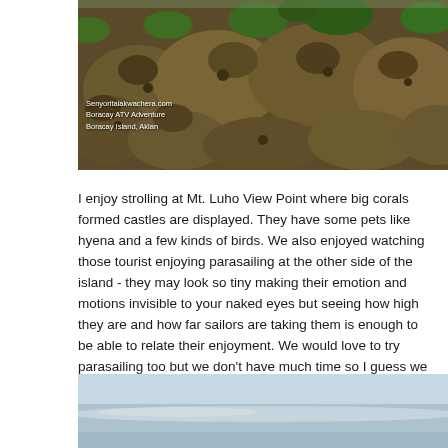[Figure (photo): Close-up photo of large coral rock formations/boulders with green vegetation growing on and around them. Boracay ATV Adventure, Boracay Island, Aklan.]
I enjoy strolling at Mt. Luho View Point where big corals formed castles are displayed. They have some pets like hyena and a few kinds of birds. We also enjoyed watching those tourist enjoying parasailing at the other side of the island - they may look so tiny making their emotion and motions invisible to your naked eyes but seeing how high they are and how far sailors are taking them is enough to be able to relate their enjoyment. We would love to try parasailing too but we don't have much time so I guess we will be reserving this on our next visit.
[Figure (photo): Partial photo showing a light blue sky with a faint horizon line, taken from a high vantage point.]